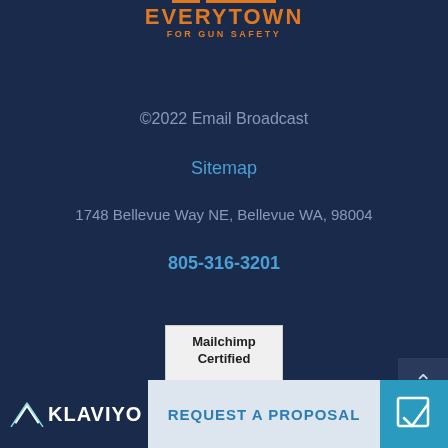[Figure (logo): Everytown For Gun Safety logo in orange with two horizontal lines above]
©2022 Email Broadcast
Sitemap
1748 Bellevue Way NE, Bellevue WA, 98004
805-316-3201
[Figure (logo): Mailchimp Certified badge with banner shape, monkey illustration and Mailchimp logo]
REQUEST A PROPOSAL
[Figure (logo): Klaviyo logo with icon and text KLAVIYO]